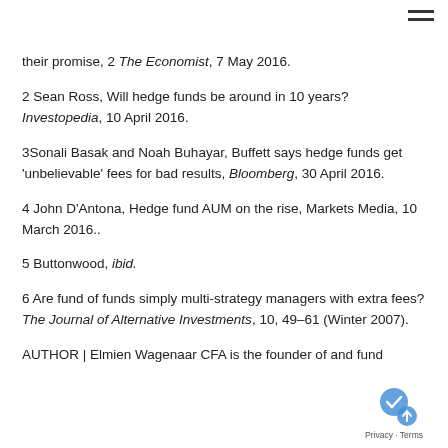their promise, 2 The Economist, 7 May 2016.
2 Sean Ross, Will hedge funds be around in 10 years? Investopedia, 10 April 2016.
3Sonali Basak and Noah Buhayar, Buffett says hedge funds get 'unbelievable' fees for bad results, Bloomberg, 30 April 2016.
4 John D'Antona, Hedge fund AUM on the rise, Markets Media, 10 March 2016..
5 Buttonwood, ibid.
6 Are fund of funds simply multi-strategy managers with extra fees? The Journal of Alternative Investments, 10, 49–61 (Winter 2007).
AUTHOR | Elmien Wagenaar CFA is the founder of and fund